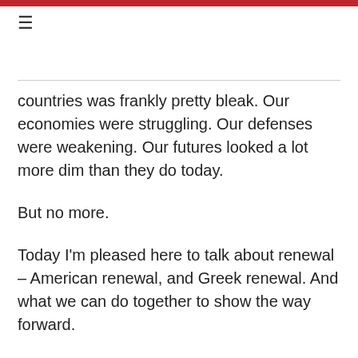≡
countries was frankly pretty bleak. Our economies were struggling. Our defenses were weakening. Our futures looked a lot more dim than they do today.
But no more.
Today I'm pleased here to talk about renewal – American renewal, and Greek renewal. And what we can do together to show the way forward.
Earlier this year I had the chance to be in the Netherlands. I co-hosted a Global Entrepreneurial Summit. One of the individuals who came was a woman named Daphne Tsevreni, a Greek co-founder of an app named Clio Muse that offers customized tours. Today she's adding new